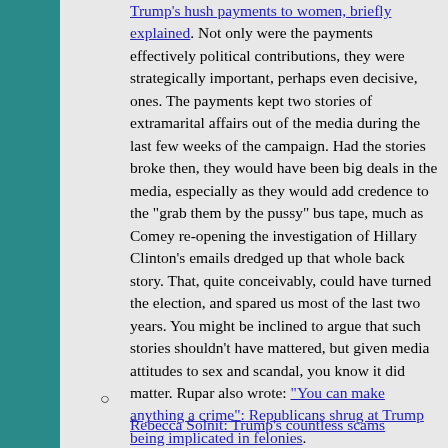Trump's hush payments to women, briefly explained. Not only were the payments effectively political contributions, they were strategically important, perhaps even decisive, ones. The payments kept two stories of extramarital affairs out of the media during the last few weeks of the campaign. Had the stories broke then, they would have been big deals in the media, especially as they would add credence to the "grab them by the pussy" bus tape, much as Comey re-opening the investigation of Hillary Clinton's emails dredged up that whole back story. That, quite conceivably, could have turned the election, and spared us most of the last two years. You might be inclined to argue that such stories shouldn't have mattered, but given media attitudes to sex and scandal, you know it did matter. Rupar also wrote: "You can make anything a crime": Republicans shrug at Trump being implicated in felonies.
Rebecca Solnit: Trump's countless scams